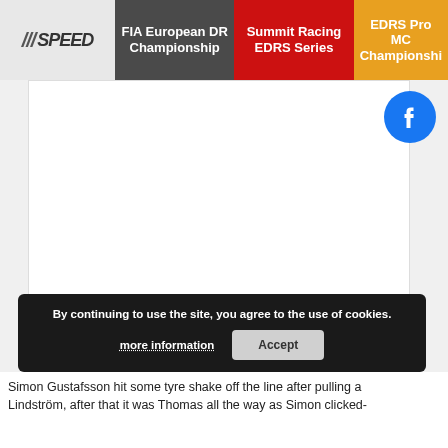///SPEED | FIA European DR Championship | Summit Racing EDRS Series | EDRS Pro MC Championship
[Figure (logo): Facebook icon logo in blue]
[Figure (screenshot): White content panel area showing a racing website with navigation bar and embedded image/video area]
By continuing to use the site, you agree to the use of cookies. more information  Accept
Simon Gustafsson hit some tyre shake off the line after pulling a
Lindström, after that it was Thomas all the way as Simon clicked-